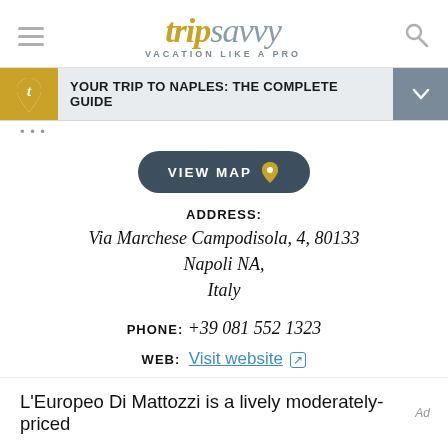tripsavvy VACATION LIKE A PRO
YOUR TRIP TO NAPLES: THE COMPLETE GUIDE
VIEW MAP
ADDRESS:
Via Marchese Campodisola, 4, 80133 Napoli NA,
Italy
PHONE: +39 081 552 1323
WEB: Visit website
L'Europeo Di Mattozzi is a lively moderately-priced